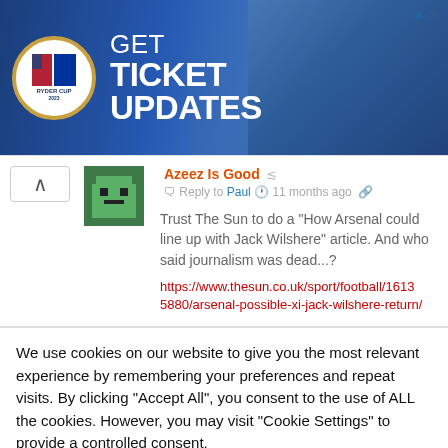[Figure (screenshot): Ryder Cup advertisement banner with logo, golfer photos, and text 'GET TICKET UPDATES']
Azeez Is Good · Reply to Paul · 11 months ago
Trust The Sun to do a "How Arsenal could line up with Jack Wilshere" article. And who said journalism was dead...?
https://www.thesun.co.uk/sport/football/16135880/arsenal-possible-xi-jack-wilshere-return/
We use cookies on our website to give you the most relevant experience by remembering your preferences and repeat visits. By clicking "Accept All", you consent to the use of ALL the cookies. However, you may visit "Cookie Settings" to provide a controlled consent.